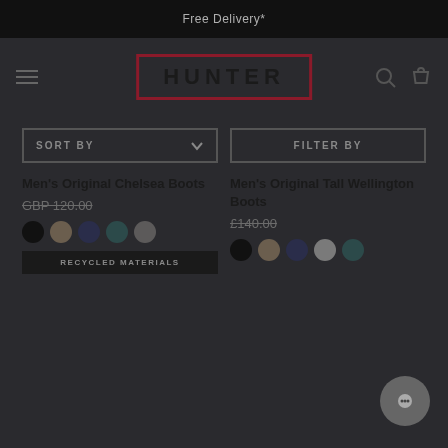Free Delivery*
[Figure (logo): Hunter brand logo with dark red border]
SORT BY
FILTER BY
Men's Original Chelsea Boots
GBP 120.00
Men's Original Tall Wellington Boots
£140.00
RECYCLED MATERIALS